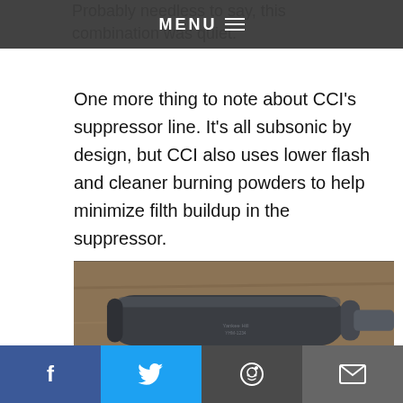MENU
One more thing to note about CCI's suppressor line. It's all subsonic by design, but CCI also uses lower flash and cleaner burning powders to help minimize filth buildup in the suppressor.
[Figure (photo): Overhead view of a suppressor/silencer lying on a wooden surface alongside loose .22 LR cartridges and a box of CCI Suppressor 22 LR ammunition, with what appears to be a black magazine or accessory visible at the right edge.]
Facebook | Twitter | Reddit | Email share buttons